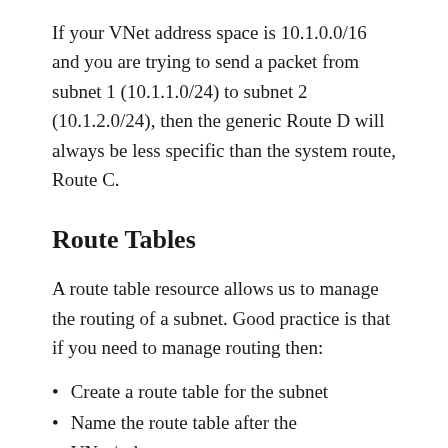If your VNet address space is 10.1.0.0/16 and you are trying to send a packet from subnet 1 (10.1.1.0/24) to subnet 2 (10.1.2.0/24), then the generic Route D will always be less specific than the system route, Route C.
Route Tables
A route table resource allows us to manage the routing of a subnet. Good practice is that if you need to manage routing then:
Create a route table for the subnet
Name the route table after the VNet/subnet